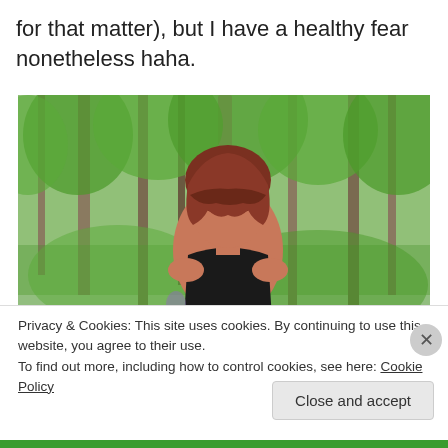for that matter), but I have a healthy fear nonetheless haha.
[Figure (photo): A woman with reddish-brown hair wearing a black top, standing in a lush green forest with tall trees]
Privacy & Cookies: This site uses cookies. By continuing to use this website, you agree to their use.
To find out more, including how to control cookies, see here: Cookie Policy
Close and accept